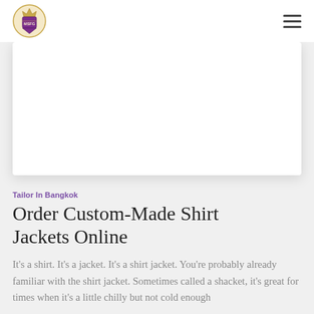MSFG logo and navigation
[Figure (photo): Large white rectangular image placeholder with shadow, likely a product or banner image]
Tailor In Bangkok
Order Custom-Made Shirt Jackets Online
It's a shirt. It's a jacket. It's a shirt jacket. You're probably already familiar with the shirt jacket. Sometimes called a shacket, it's great for times when it's a little chilly but not cold enough